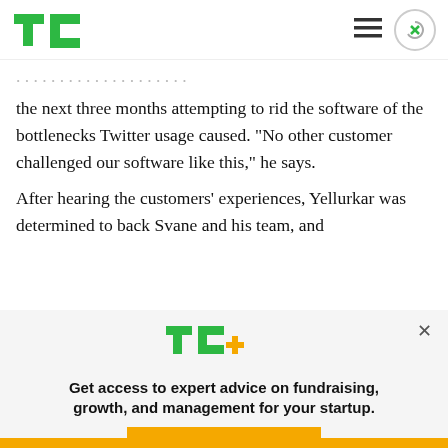TechCrunch
the next three months attempting to rid the software of the bottlenecks Twitter usage caused. “No other customer challenged our software like this,” he says.

After hearing the customers’ experiences, Yellurkar was determined to back Svane and his team, and
[Figure (logo): TechCrunch TC+ logo with green TC letters and gold plus sign]
Get access to expert advice on fundraising, growth, and management for your startup.
EXPLORE NOW